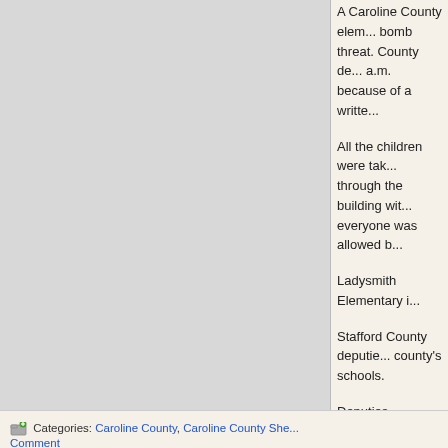A Caroline County elem... bomb threat. County de... a.m. because of a writte...
All the children were tak... through the building wit... everyone was allowed b...
Ladysmith Elementary i...
Stafford County deputie... county's schools.
Deputies searched the b... School.
They received reports t... and talked about shooti... at the home.
So far no charges have...
[googlevideo=http://vide...
Categories: Caroline County, Caroline County She...
Comment